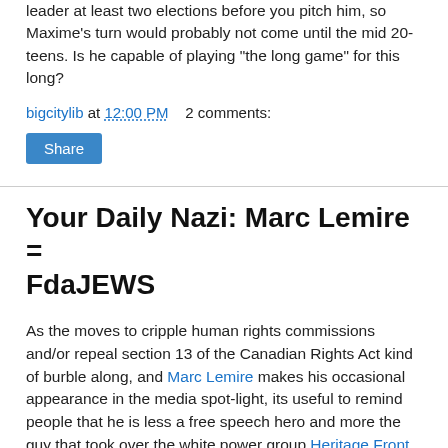leader at least two elections before you pitch him, so Maxime's turn would probably not come until the mid 20-teens. Is he capable of playing "the long game" for this long?
bigcitylib at 12:00 PM   2 comments:
Share
Your Daily Nazi: Marc Lemire = FdaJEWS
As the moves to cripple human rights commissions and/or repeal section 13 of the Canadian Rights Act kind of burble along, and Marc Lemire makes his occasional appearance in the media spot-light, its useful to remind people that he is less a free speech hero and more the guy that took over the white power group Heritage Front after Wolfgang Droege retired.
And today this reminder comes in the form of transcripts of an Internet chat session from Sept. 2001 between Lemire